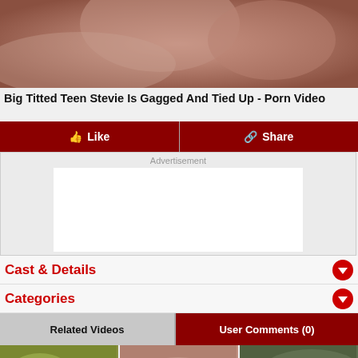[Figure (photo): Close-up photo of skin/body, cropped at top]
Big Titted Teen Stevie Is Gagged And Tied Up - Porn Video
Like | Share
[Figure (other): Advertisement placeholder white box]
Cast & Details
Categories
Related Videos | User Comments (0)
[Figure (photo): Three thumbnail images of related videos]
Related Videos
User Comments (0)